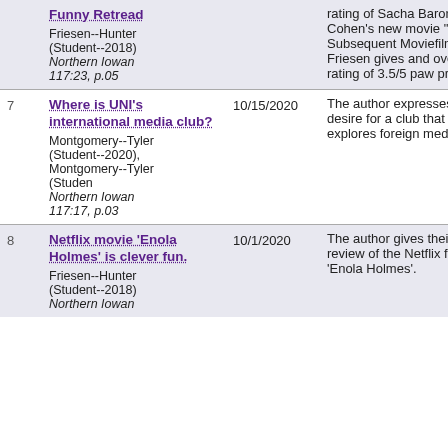| # | Article / Author / Source | Date | Description |
| --- | --- | --- | --- |
|  | Funny Retread
Friesen--Hunter (Student--2018)
Northern Iowan 117:23, p.05 |  | rating of Sacha Baron Cohen's new movie "Borat Subsequent Moviefilm" Friesen gives and overall rating of 3.5/5 paw prints. |
| 7 | Where is UNI's international media club?
Montgomery--Tyler (Student--2020), Montgomery--Tyler (Studen
Northern Iowan 117:17, p.03 | 10/15/2020 | The author expresses his desire for a club that explores foreign media. |
| 8 | Netflix movie 'Enola Holmes' is clever fun.
Friesen--Hunter (Student--2018)
Northern Iowan | 10/1/2020 | The author gives their review of the Netflix film 'Enola Holmes'. |